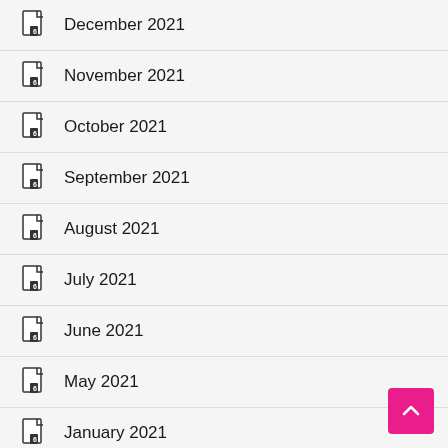December 2021
November 2021
October 2021
September 2021
August 2021
July 2021
June 2021
May 2021
January 2021
December 2020
November 2020